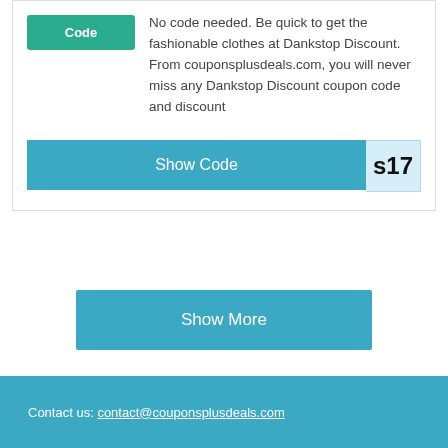Code
No code needed. Be quick to get the fashionable clothes at Dankstop Discount. From couponsplusdeals.com, you will never miss any Dankstop Discount coupon code and discount
Show Code
s17
Show More
Contact us: contact@couponsplusdeals.com